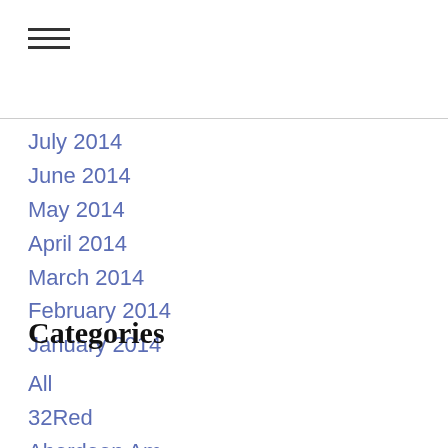July 2014
June 2014
May 2014
April 2014
March 2014
February 2014
January 2014
Categories
All
32Red
Aberdeen Am
Admin
A G Barr
Airtel Africa
Alliance Pharma
Alternative Telecoms